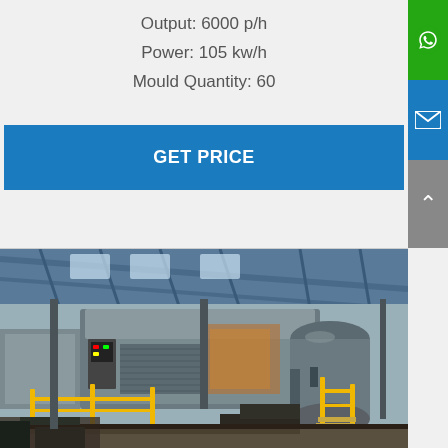Output: 6000 p/h
Power: 105 kw/h
Mould Quantity: 60
GET PRICE
[Figure (photo): Industrial factory interior showing large egg tray manufacturing machinery with yellow safety railings, large cylindrical tank, conveyor system, and overhead steel structure roof.]